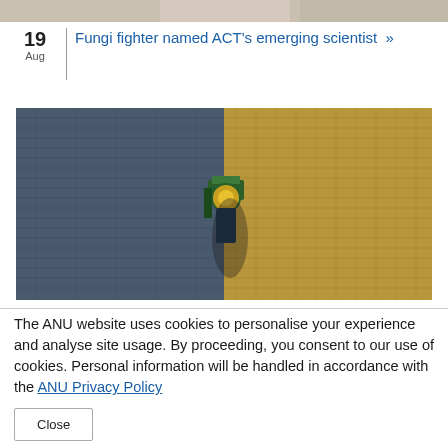[Figure (photo): Top cropped portion of a photo, partially visible at the top of the page]
19
Aug
Fungi fighter named ACT's emerging scientist »
[Figure (photo): Aerial view of a green agricultural harvesting machine working in a field, half harvested showing blue-tinted crop residue on left and golden crop on right]
The ANU website uses cookies to personalise your experience and analyse site usage. By proceeding, you consent to our use of cookies. Personal information will be handled in accordance with the ANU Privacy Policy
Close